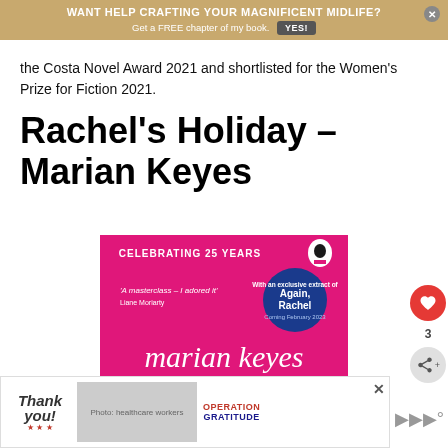WANT HELP CRAFTING YOUR MAGNIFICENT MIDLIFE? Get a FREE chapter of my book. YES!
the Costa Novel Award 2021 and shortlisted for the Women's Prize for Fiction 2021.
Rachel's Holiday – Marian Keyes
[Figure (illustration): Book cover for Rachel's Holiday by Marian Keyes. Hot pink background with text: CELEBRATING 25 YEARS, a Penguin logo, a quote 'A masterclass – I adored it' Liane Moriarty, a circular badge reading 'Again, Rachel Coming February 2023', and the author name 'marian keyes' in large white script letters at the bottom.]
[Figure (photo): Advertisement banner for Operation Gratitude featuring a 'Thank you!' graphic with American flag stars and a photo of healthcare workers in masks holding books/packages. The Operation Gratitude logo is visible.]